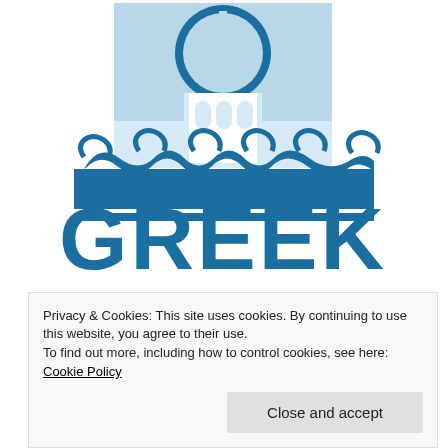[Figure (logo): Greek Isles logo: a light blue Santorini dome church building with decorative wave motifs, sitting on top of two horizontal blue bars. Below the graphic is the text GREEK ISLES in large bold blue letters.]
Privacy & Cookies: This site uses cookies. By continuing to use this website, you agree to their use.
To find out more, including how to control cookies, see here: Cookie Policy
Close and accept